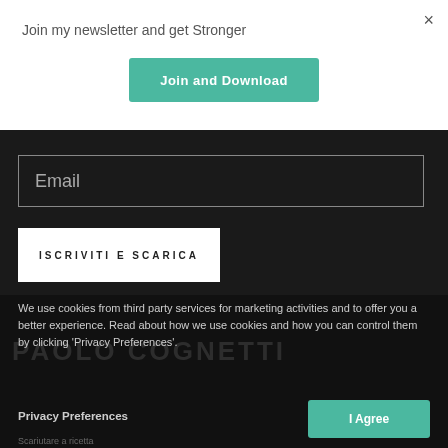Join my newsletter and get Stronger
Join and Download
Email
ISCRIVITI E SCARICA
We use cookies from third party services for marketing activities and to offer you a better experience. Read about how we use cookies and how you can control them by clicking 'Privacy Preferences'.
Privacy Preferences
I Agree